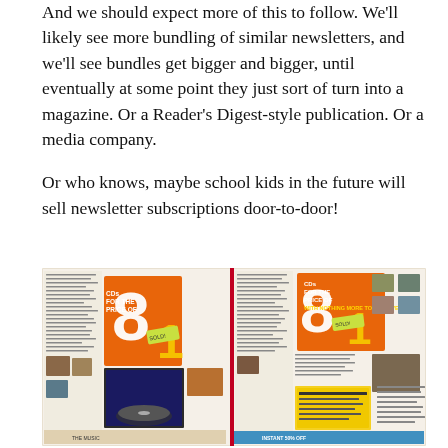And we should expect more of this to follow. We'll likely see more bundling of similar newsletters, and we'll see bundles get bigger and bigger, until eventually at some point they just sort of turn into a magazine. Or a Reader's Digest-style publication. Or a media company.
Or who knows, maybe school kids in the future will sell newsletter subscriptions door-to-door!
[Figure (photo): Photo of two side-by-side Columbia House or BMG music club advertisement inserts showing '8 CDs for the price of 1' offer with listings of CD titles and small album cover images, colorful orange and yellow promotional text and graphics.]